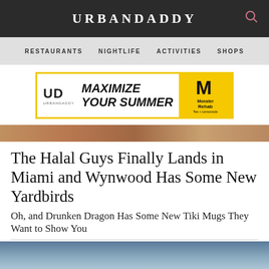URBANDADDY
RESTAURANTS  NIGHTLIFE  ACTIVITIES  SHOPS
[Figure (other): Advertisement banner: UD UrbanDaddy logo on left, 'MAXIMIZE YOUR SUMMER' text in bold italic, Monster Energy Rehab logo on right with yellow background]
[Figure (photo): Food image strip showing blurred food items]
The Halal Guys Finally Lands in Miami and Wynwood Has Some New Yardbirds
Oh, and Drunken Dragon Has Some New Tiki Mugs They Want to Show You
[Figure (photo): Sky photo with gradient from blue to warm orange/peach tones at bottom]